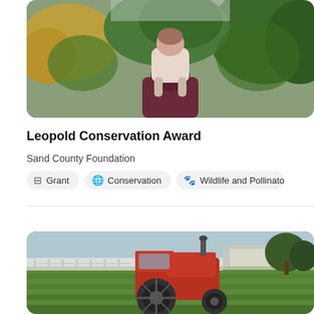[Figure (photo): A child sitting on an adult's shoulders walking through a leafy orchard or farm garden in autumn]
Leopold Conservation Award
Sand County Foundation
Grant
Conservation
Wildlife and Pollinator H
[Figure (photo): A red tractor in a green farm field with greenhouses and farm buildings in the background]